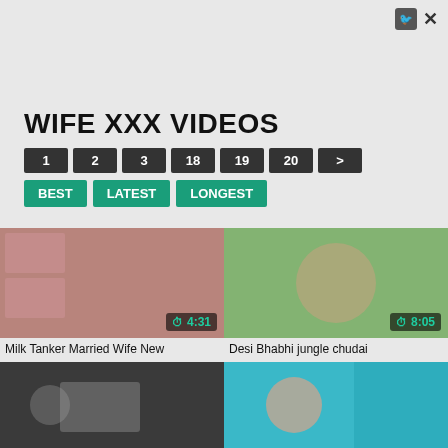WIFE XXX VIDEOS
1 2 3 18 19 20 >
BEST LATEST LONGEST
[Figure (screenshot): Video thumbnail showing duration 4:31]
Milk Tanker Married Wife New
[Figure (screenshot): Video thumbnail showing duration 8:05]
Desi Bhabhi jungle chudai
[Figure (screenshot): Video thumbnail row 2 left]
[Figure (screenshot): Video thumbnail row 2 right]